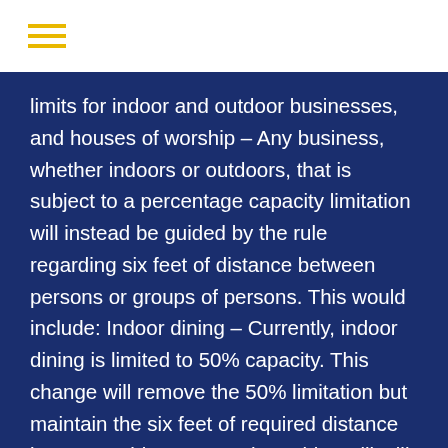limits for indoor and outdoor businesses, and houses of worship – Any business, whether indoors or outdoors, that is subject to a percentage capacity limitation will instead be guided by the rule regarding six feet of distance between persons or groups of persons. This would include: Indoor dining – Currently, indoor dining is limited to 50% capacity. This change will remove the 50% limitation but maintain the six feet of required distance between tables, except that tables will still be permitted to be closer than six feet